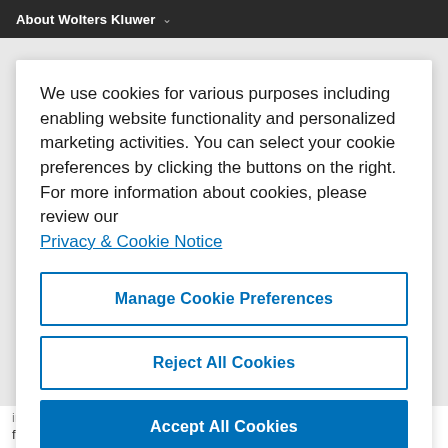About Wolters Kluwer
We use cookies for various purposes including enabling website functionality and personalized marketing activities. You can select your cookie preferences by clicking the buttons on the right. For more information about cookies, please review our Privacy & Cookie Notice
Manage Cookie Preferences
Reject All Cookies
Accept All Cookies
fully in any litigation or other proceedings undertaken to